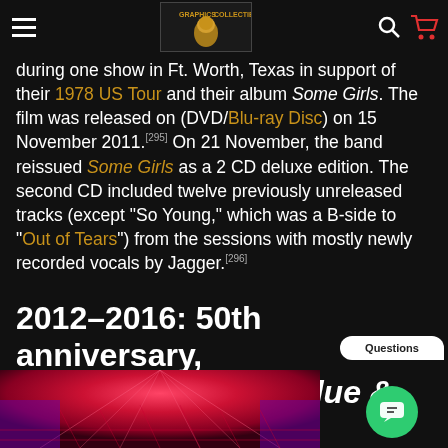[Navigation bar with hamburger menu, logo, search and cart icons]
during one show in Ft. Worth, Texas in support of their 1978 US Tour and their album Some Girls. The film was released on (DVD/Blu-ray Disc) on 15 November 2011.[295] On 21 November, the band reissued Some Girls as a 2 CD deluxe edition. The second CD included twelve previously unreleased tracks (except "So Young," which was a B-side to "Out of Tears") from the sessions with mostly newly recorded vocals by Jagger.[296]
2012–2016: 50th anniversary, documentary and Blue & Lonesome
[Figure (photo): Concert stage photo with colorful red and purple lighting]